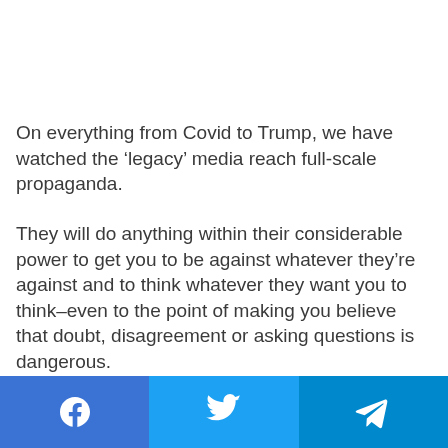On everything from Covid to Trump, we have watched the ‘legacy’ media reach full-scale propaganda.
They will do anything within their considerable power to get you to be against whatever they’re against and to think whatever they want you to think–even to the point of making you believe that doubt, disagreement or asking questions is dangerous.